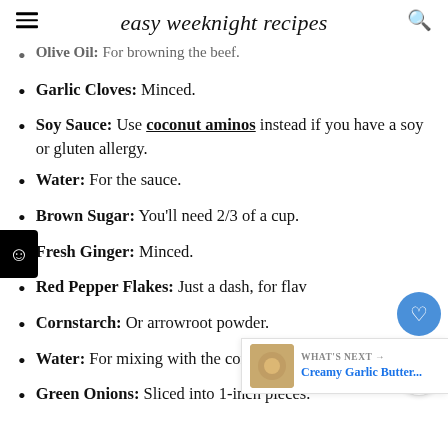easy weeknight recipes
Olive Oil: For browning the beef.
Garlic Cloves: Minced.
Soy Sauce: Use coconut aminos instead if you have a soy or gluten allergy.
Water: For the sauce.
Brown Sugar: You'll need 2/3 of a cup.
Fresh Ginger: Minced.
Red Pepper Flakes: Just a dash, for flavor.
Cornstarch: Or arrowroot powder.
Water: For mixing with the cornstarch.
Green Onions: Sliced into 1-inch pieces.